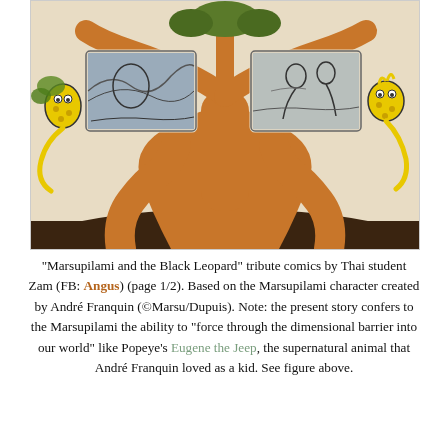[Figure (illustration): Comic illustration titled 'Marsupilami and the Black Leopard'. Shows a large cat-like creature (Marsupilami) whose body forms a tree shape, with comic panel frames embedded in the branches showing scenes. Small yellow Marsupilami characters appear on both sides. The lower body forms tree-trunk-like legs rooted in dark soil.]
“Marsupilami and the Black Leopard” tribute comics by Thai student Zam (FB: Angus) (page 1/2). Based on the Marsupilami character created by André Franquin (©Marsu/Dupuis). Note: the present story confers to the Marsupilami the ability to “force through the dimensional barrier into our world” like Popeye’s Eugene the Jeep, the supernatural animal that André Franquin loved as a kid. See figure above.